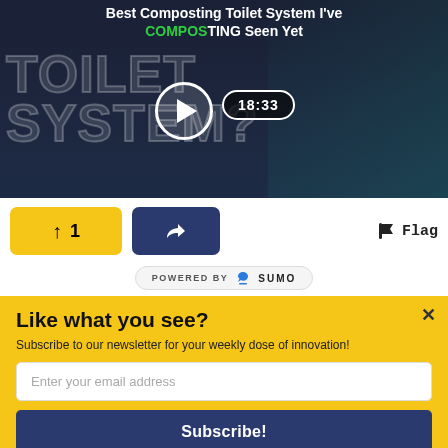[Figure (screenshot): Video thumbnail showing a man in a teal shirt with overlaid text 'Best Composting Toilet System I've Seen Yet' and large background text 'TOILET SYSTEM?' with a play button and duration badge showing 18:33]
↑ 1  [share button]  Flag
POWERED BY SUMO
WHY SHOULD YOU WATCH THIS?
Like what you see?
Subscribe to our newsletter for your weekly dose of innovation!
Enter your email address
Subscribe!